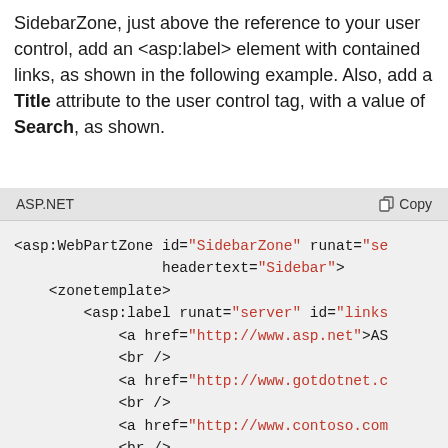SidebarZone, just above the reference to your user control, add an <asp:label> element with contained links, as shown in the following example. Also, add a Title attribute to the user control tag, with a value of Search, as shown.
[Figure (screenshot): ASP.NET code block showing XML markup for asp:WebPartZone with SidebarZone id, zonetemplate, asp:label with links, and uc1:SearchUserControl]